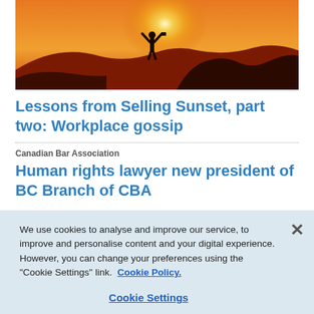[Figure (photo): Silhouette of a person standing on a rocky cliff with hands raised, backlit by a large orange-yellow sunset sun, warm gradient background]
Lessons from Selling Sunset, part two: Workplace gossip
Canadian Bar Association
Human rights lawyer new president of BC Branch of CBA
We use cookies to analyse and improve our service, to improve and personalise content and your digital experience. However, you can change your preferences using the "Cookie Settings" link. Cookie Policy.
Cookie Settings